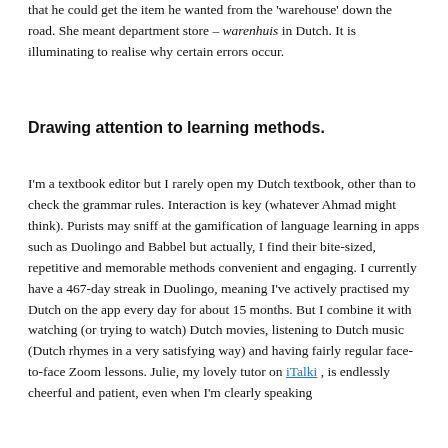that he could get the item he wanted from the 'warehouse' down the road. She meant department store – warenhuis in Dutch. It is illuminating to realise why certain errors occur.
Drawing attention to learning methods.
I'm a textbook editor but I rarely open my Dutch textbook, other than to check the grammar rules. Interaction is key (whatever Ahmad might think). Purists may sniff at the gamification of language learning in apps such as Duolingo and Babbel but actually, I find their bite-sized, repetitive and memorable methods convenient and engaging. I currently have a 467-day streak in Duolingo, meaning I've actively practised my Dutch on the app every day for about 15 months. But I combine it with watching (or trying to watch) Dutch movies, listening to Dutch music (Dutch rhymes in a very satisfying way) and having fairly regular face-to-face Zoom lessons. Julie, my lovely tutor on iTalki , is endlessly cheerful and patient, even when I'm clearly speaking